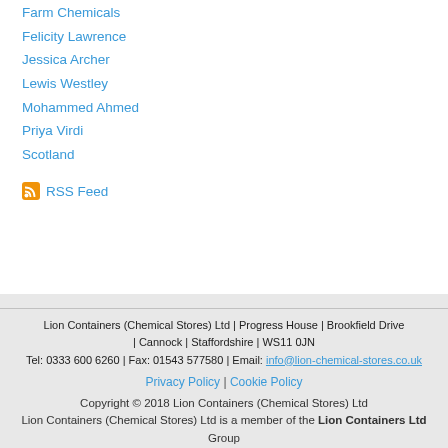Farm Chemicals
Felicity Lawrence
Jessica Archer
Lewis Westley
Mohammed Ahmed
Priya Virdi
Scotland
RSS Feed
Lion Containers (Chemical Stores) Ltd | Progress House | Brookfield Drive | Cannock | Staffordshire | WS11 0JN
Tel: 0333 600 6260 | Fax: 01543 577580 | Email: info@lion-chemical-stores.co.uk
Privacy Policy | Cookie Policy
Copyright © 2018 Lion Containers (Chemical Stores) Ltd
Lion Containers (Chemical Stores) Ltd is a member of the Lion Containers Ltd Group